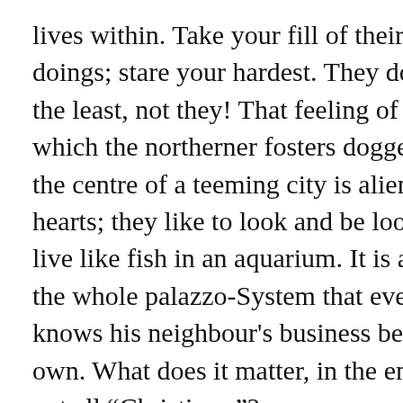lives within. Take your fill of their domestic doings; stare your hardest. They don't mind in the least, not they! That feeling of privacy which the northerner fosters doggedly even in the centre of a teeming city is alien to their hearts; they like to look and be looked at; they live like fish in an aquarium. It is a result of the whole palazzo-System that every one knows his neighbour's business better than his own. What does it matter, in the end? Are we not all “Christians ”?

The municipality, meanwhile, is deeply indebted for the sky-